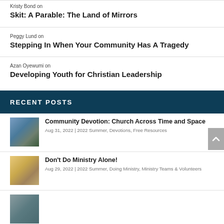Kristy Bond on Skit: A Parable: The Land of Mirrors
Peggy Lund on Stepping In When Your Community Has A Tragedy
Azan Oyewumi on Developing Youth for Christian Leadership
RECENT POSTS
[Figure (photo): Outdoor community gathering scene]
Community Devotion: Church Across Time and Space
Aug 31, 2022 | 2022 Summer, Devotions, Free Resources
[Figure (photo): Hands joined together ministry photo]
Don't Do Ministry Alone!
Aug 29, 2022 | 2022 Summer, Doing Ministry, Ministry Teams & Volunteers
[Figure (photo): Community devotion thumbnail]